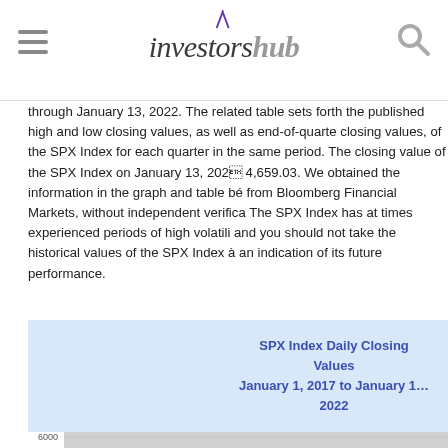InvestorsHub
through January 13, 2022. The related table sets forth the published high and low closing values, as well as end-of-quarter closing values, of the SPX Index for each quarter in the same period. The closing value of the SPX Index on January 13, 2022 4,659.03. We obtained the information in the graph and table be from Bloomberg Financial Markets, without independent verifica The SPX Index has at times experienced periods of high volatili and you should not take the historical values of the SPX Index an indication of its future performance.
[Figure (continuous-plot): Line chart showing SPX Index daily closing values from January 1, 2017 to January 13, 2022, with y-axis showing values from approximately 1000 to 5000, displaying an overall upward trend.]